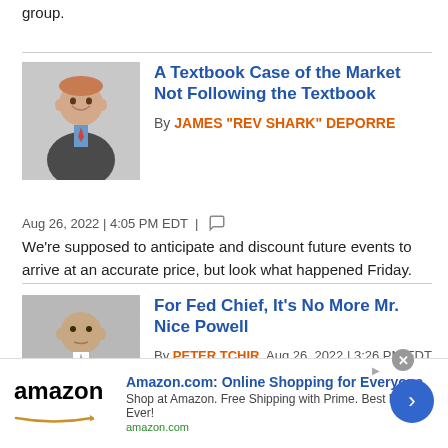group.
[Figure (photo): Headshot of a man in a suit, smiling, gray background]
A Textbook Case of the Market Not Following the Textbook
By JAMES "REV SHARK" DEPORRE
Aug 26, 2022 | 4:05 PM EDT |
We're supposed to anticipate and discount future events to arrive at an accurate price, but look what happened Friday.
[Figure (photo): Headshot of a bald man in a dark suit with tie, gray background]
For Fed Chief, It's No More Mr. Nice Powell
By PETER TCHIR  Aug 26, 2022 | 3:26 PM EDT |
The chair showed he's not going soft on inflation any time soon, as we have Ukraine's invasion, China's woes and inventory problems in the backdrop.
[Figure (infographic): Amazon advertisement banner: Amazon.com Online Shopping for Everyone. Shop at Amazon. Free Shipping with Prime. Best Deals Ever! amazon.com]